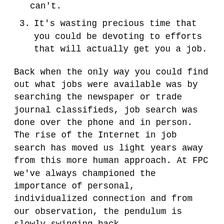can't.
3. It's wasting precious time that you could be devoting to efforts that will actually get you a job.
Back when the only way you could find out what jobs were available was by searching the newspaper or trade journal classifieds, job search was done over the phone and in person. The rise of the Internet in job search has moved us light years away from this more human approach. At FPC we've always championed the importance of personal, individualized connection and from our observation, the pendulum is slowly swinging back.
As I mentioned, when I started my executive recruiting business, I worked for the job board CareerBuilder.com selling postings and resume